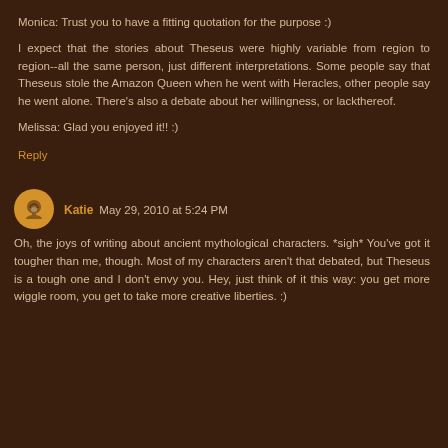Monica: Trust you to have a fitting quotation for the purpose :)
I expect that the stories about Theseus were highly variable from region to region--all the same person, just different interpretations. Some people say that Theseus stole the Amazon Queen when he went with Heracles, other people say he went alone. There's also a debate about her willingness, or lackthereof.
Melissa: Glad you enjoyed it!! :)
Reply
Katie May 29, 2010 at 5:24 PM
Oh, the joys of writing about ancient mythological characters. *sigh* You've got it tougher than me, though. Most of my characters aren't that debated, but Theseus is a tough one and I don't envy you. Hey, just think of it this way: you get more wiggle room, you get to take more creative liberties. :)